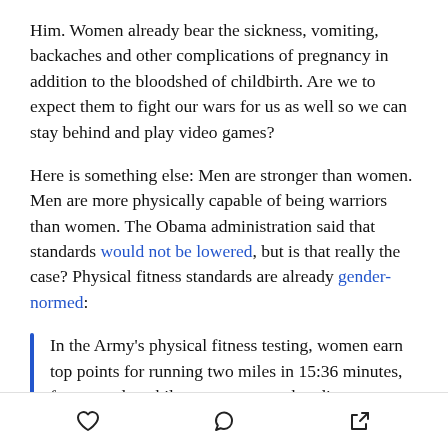Him. Women already bear the sickness, vomiting, backaches and other complications of pregnancy in addition to the bloodshed of childbirth. Are we to expect them to fight our wars for us as well so we can stay behind and play video games?
Here is something else: Men are stronger than women. Men are more physically capable of being warriors than women. The Obama administration said that standards would not be lowered, but is that really the case? Physical fitness standards are already gender-normed:
In the Army's physical fitness testing, women earn top points for running two miles in 15:36 minutes, for example, while men must run that distance two
♡   ○   ↗